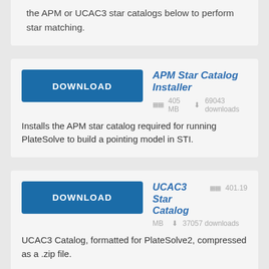the APM or UCAC3 star catalogs below to perform star matching.
[Figure (other): Download button card for APM Star Catalog Installer with download button, file size 405 MB, 69043 downloads, and description text.]
APM Star Catalog Installer
405 MB   69043 downloads
Installs the APM star catalog required for running PlateSolve to build a pointing model in STI.
[Figure (other): Download button card for UCAC3 Star Catalog with download button, file size 401.19 MB, 37057 downloads, and description text.]
UCAC3 Star Catalog
401.19 MB   37057 downloads
UCAC3 Catalog, formatted for PlateSolve2, compressed as a .zip file.